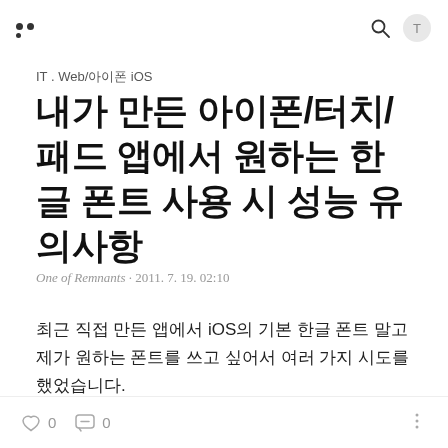[Logo] [Search icon] [Profile icon]
IT . Web/아이폰 iOS
내가 만든 아이폰/터치/패드 앱에서 원하는 한글 폰트 사용 시 성능 유의사항
One of Remnants · 2011. 7. 19. 02:10
최근 직접 만든 앱에서 iOS의 기본 한글 폰트 말고 제가 원하는 폰트를 쓰고 싶어서 여러 가지 시도를 했었습니다.
♡ 0  💬 0  ⋮